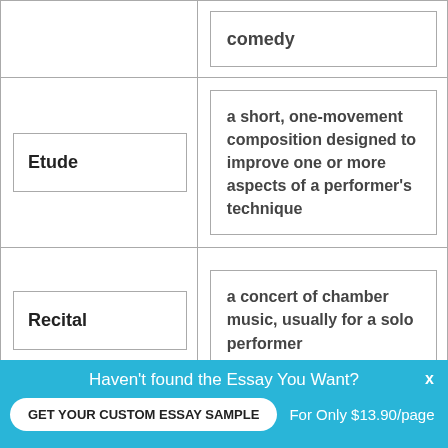| Term | Definition |
| --- | --- |
|  | comedy |
| Etude | a short, one-movement composition designed to improve one or more aspects of a performer's technique |
| Recital | a concert of chamber music, usually for a solo performer |
|  |  |
Haven't found the Essay You Want?
GET YOUR CUSTOM ESSAY SAMPLE
For Only $13.90/page